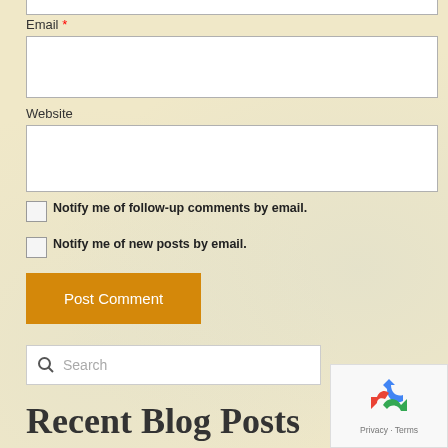Email *
Website
Notify me of follow-up comments by email.
Notify me of new posts by email.
Post Comment
Search
Recent Blog Posts
[Figure (other): reCAPTCHA privacy badge with recycling arrow logo and Privacy - Terms text]